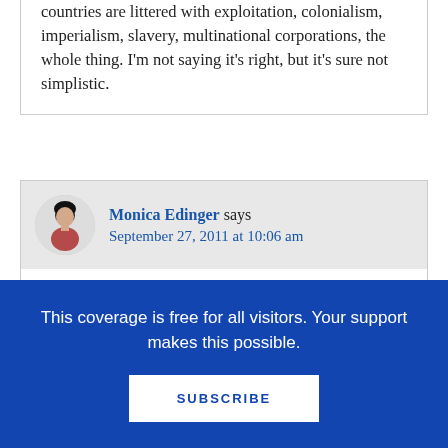manual labor. The history of industrialized countries are littered with exploitation, colonialism, imperialism, slavery, multinational corporations, the whole thing. I'm not saying it's right, but it's sure not simplistic.
Monica Edinger says
September 27, 2011 at 10:06 am
Wendy, my point was more that when we do know a subject well we can see the holes and errors in a way others cannot. The challenge
This coverage is free for all visitors. Your support makes this possible.
SUBSCRIBE